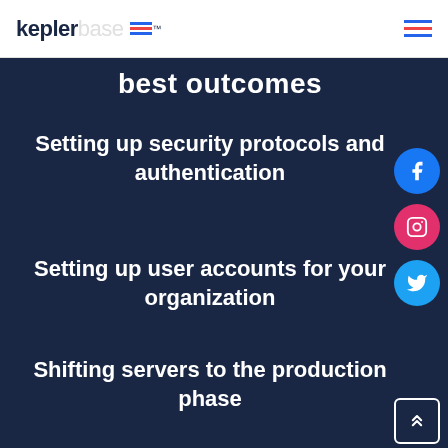keplerbase™
best outcomes
Setting up security protocols and authentication
Setting up user accounts for your organization
Shifting servers to the production phase